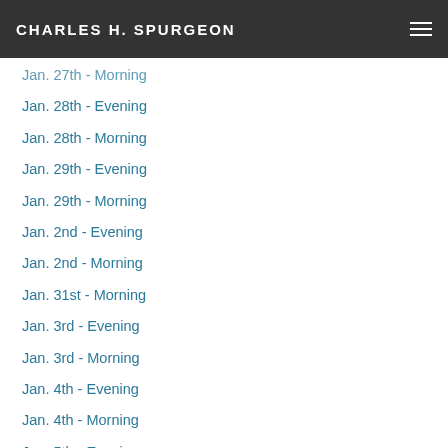CHARLES H. SPURGEON
Jan. 27th - Morning
Jan. 28th - Evening
Jan. 28th - Morning
Jan. 29th - Evening
Jan. 29th - Morning
Jan. 2nd - Evening
Jan. 2nd - Morning
Jan. 31st - Morning
Jan. 3rd - Evening
Jan. 3rd - Morning
Jan. 4th - Evening
Jan. 4th - Morning
Jan. 5th - Evening
Jan. 5th - Morning
Jan. 6th - Evening
Jan. 6th - Morning
Jan. 7th - Evening
Jan. 7th - Morning